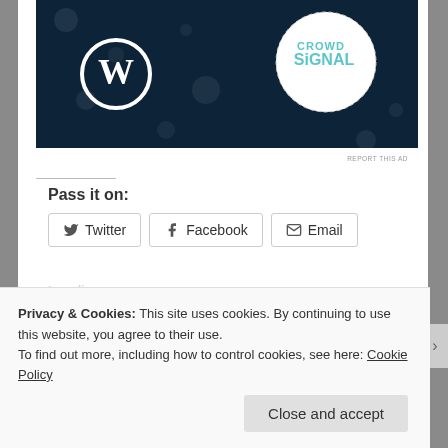[Figure (screenshot): Advertisement banner with dark navy background, WordPress logo on left, Crowd Signal logo on right, with dotted light circles pattern]
REPORT THIS AD
Pass it on:
Twitter   Facebook   Email
Loading...
December 7, 2016 in Le Quotidien. Tags: Grumpy old man, Humor, Humour, Paranoia, Rants, recycling, unexplained mysteries, Waste management
Privacy & Cookies: This site uses cookies. By continuing to use this website, you agree to their use.
To find out more, including how to control cookies, see here: Cookie Policy
Close and accept